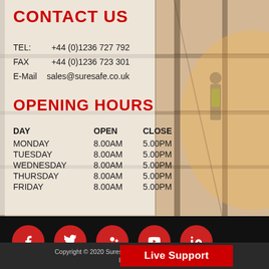CONTACT US
TEL: +44 (0)1236 727 792
FAX +44 (0)1236 723 301
E-Mail sales@suresafe.co.uk
OPENING HOURS
| DAY | OPEN | CLOSE |
| --- | --- | --- |
| MONDAY | 8.00AM | 5.00PM |
| TUESDAY | 8.00AM | 5.00PM |
| WEDNESDAY | 8.00AM | 5.00PM |
| THURSDAY | 8.00AM | 5.00PM |
| FRIDAY | 8.00AM | 5.00PM |
[Figure (infographic): Social media icons: Facebook, Twitter, Google+, YouTube, LinkedIn on black bar]
Copyright © 2020 Suresafe Prote... | Live Support | ...rserved | b2b econ...